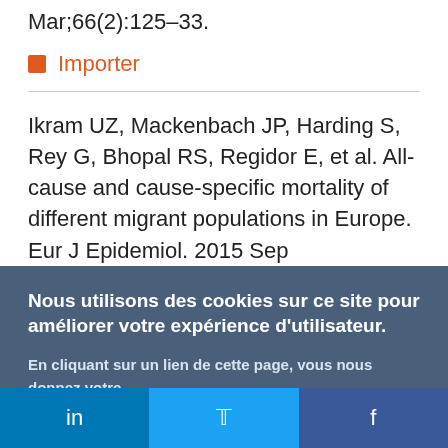Mar;66(2):125–33.
Importer
Ikram UZ, Mackenbach JP, Harding S, Rey G, Bhopal RS, Regidor E, et al. All-cause and cause-specific mortality of different migrant populations in Europe. Eur J Epidemiol. 2015 Sep
Nous utilisons des cookies sur ce site pour améliorer votre expérience d'utilisateur. En cliquant sur un lien de cette page, vous nous donnez votre consentement de définir des cookies.
Oui, je suis d'accord
Plus d'infos
in  f